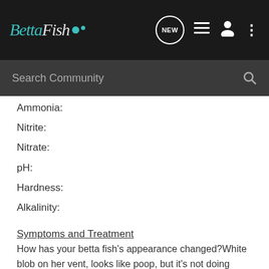BettaFish
Ammonia:
Nitrite:
Nitrate:
pH:
Hardness:
Alkalinity:
Symptoms and Treatment
How has your betta fish's appearance changed?White blob on her vent, looks like poop, but it's not doing anything. None of the other fish have it.
How has your betta fish's behavior changed? N/A
When did you start noticing the symptoms? A month or two ago
Have you started treating your fish? If so, how? No
Does your fish have any history of being ill? No
How old is your fish (approximately)? I got her 7 months ago